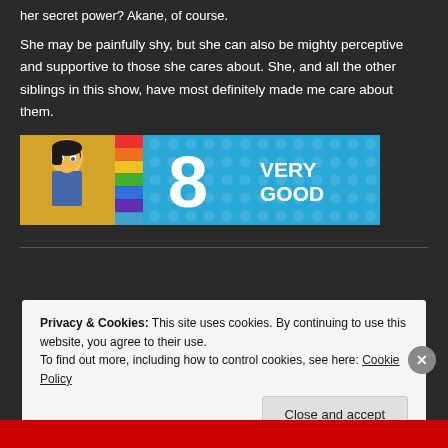her secret power? Akane, of course.
She may be painfully shy, but she can also be mighty perceptive and supportive to those she cares about. She, and all the other siblings in this show, have most definitely made me care about them.
[Figure (infographic): Rating banner showing anime character artwork on left with rainbow gradient stripe, then a blue background with circled dot pattern. Shows the score '8' in large white text and label 'VERY GOOD' in white bold text.]
Privacy & Cookies: This site uses cookies. By continuing to use this website, you agree to their use.
To find out more, including how to control cookies, see here: Cookie Policy
Close and accept